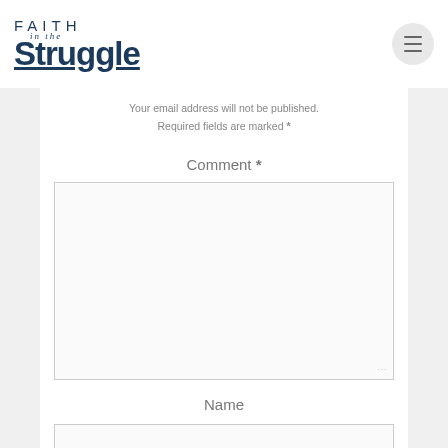[Figure (logo): Faith in the Struggle logo — bold navy blue text with decorative italic 'in the' subtitle]
Your email address will not be published. Required fields are marked *
Comment *
Name